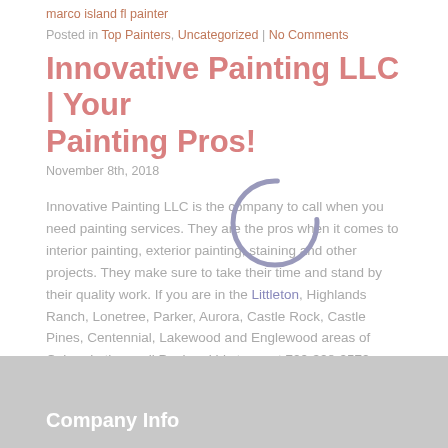marco island fl painter
Posted in Top Painters, Uncategorized | No Comments
Innovative Painting LLC | Your Painting Pros!
November 8th, 2018
Innovative Painting LLC is the company to call when you need painting services. They are the pros when it comes to interior painting, exterior painting, staining and other projects. They make sure to take their time and stand by their quality work. If you are in the Littleton, Highlands Ranch, Lonetree, Parker, Aurora, Castle Rock, Castle Pines, Centennial, Lakewood and Englewood areas of Colorado then call Paul and his team at 720-328-2572 today!
Tags: Exterior Paining Littleton CO, House Painters Littleton CO, Painting Littleton CO, Pressure Washing Littleton CO, Staining Littleton CO
Posted in Uncategorized | No Comments
Company Info